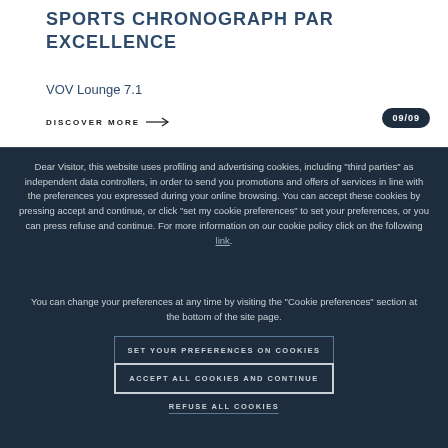SPORTS CHRONOGRAPH PAR EXCELLENCE
VOV Lounge 7.1
DISCOVER MORE →
09/09
Dear Visitor, this website uses profiling and advertising cookies, including "third parties" as independent data controllers, in order to send you promotions and offers of services in line with the preferences you expressed during your online browsing. You can accept these cookies by pressing accept and continue, or click "set my cookie preferences" to set your preferences, or you can press refuse and continue. For more information on our cookie policy click on the following link.
You can change your preferences at any time by visiting the "Cookie preferences" section at the bottom of the site page.
SET YOUR PREFERENCES ON COOKIES
ACCEPT ALL COOKIES AND CONTINUE
REFUSE ALL COOKIES